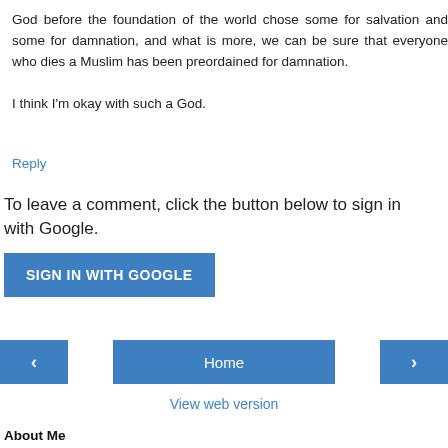God before the foundation of the world chose some for salvation and some for damnation, and what is more, we can be sure that everyone who dies a Muslim has been preordained for damnation.

I think I'm okay with such a God.
Reply
To leave a comment, click the button below to sign in with Google.
SIGN IN WITH GOOGLE
‹
Home
›
View web version
About Me